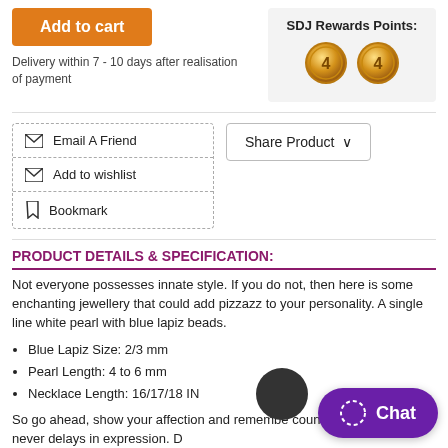Add to cart
Delivery within 7 - 10 days after realisation of payment
SDJ Rewards Points:
[Figure (illustration): Two gold coins each showing the number 4]
Email A Friend
Add to wishlist
Bookmark
Share Product
PRODUCT DETAILS & SPECIFICATION:
Not everyone possesses innate style. If you do not, then here is some enchanting jewellery that could add pizzazz to your personality. A single line white pearl with blue lapiz beads.
Blue Lapiz Size: 2/3 mm
Pearl Length: 4 to 6 mm
Necklace Length: 16/17/18 IN
So go ahead, show your affection and remember counts the cost and never delays in expression. D